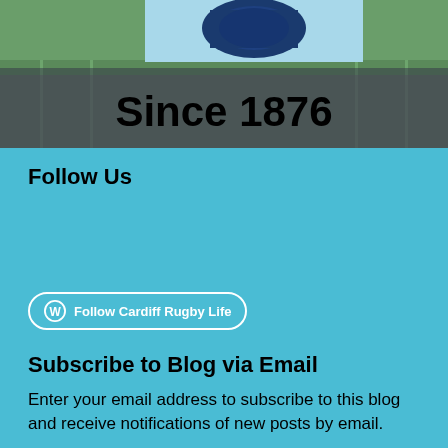[Figure (photo): Cardiff Rugby Club banner image showing 'Since 1876' text in bold black over a rugby crowd/stadium background, with a blue logo at top on a light blue background]
Follow Us
[Figure (other): WordPress Follow button: 'Follow Cardiff Rugby Life']
Subscribe to Blog via Email
Enter your email address to subscribe to this blog and receive notifications of new posts by email.